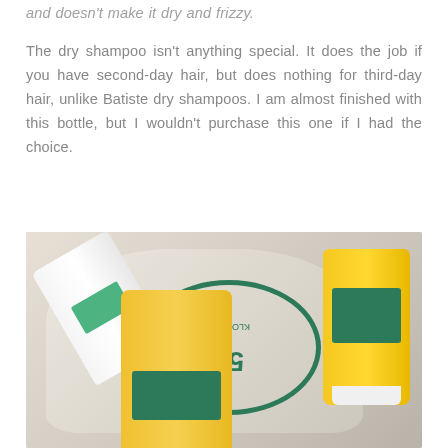and doesn't make it dry and frizzy.

The dry shampoo isn't anything special. It does the job if you have second-day hair, but does nothing for third-day hair, unlike Batiste dry shampoos. I am almost finished with this bottle, but I wouldn't purchase this one if I had the choice.
[Figure (photo): Photo of Klorane hair products including a white dry shampoo bottle, a yellow shampoo bottle, and a yellow conditioner tube, arranged on a linen bag with a Klorane 50 Years anniversary stamp logo]